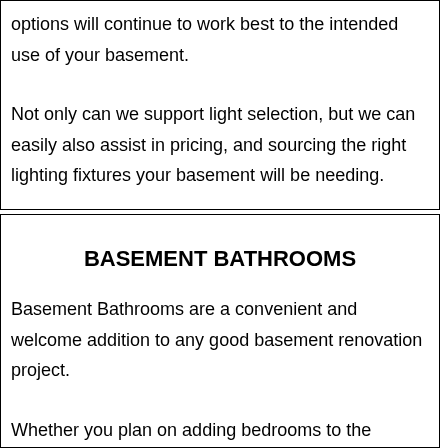options will continue to work best to the intended use of your basement.
Not only can we support light selection, but we can easily also assist in pricing, and sourcing the right lighting fixtures your basement will be needing.
BASEMENT BATHROOMS
Basement Bathrooms are a convenient and welcome addition to any good basement renovation project.
Whether you plan on adding bedrooms to the basement, a